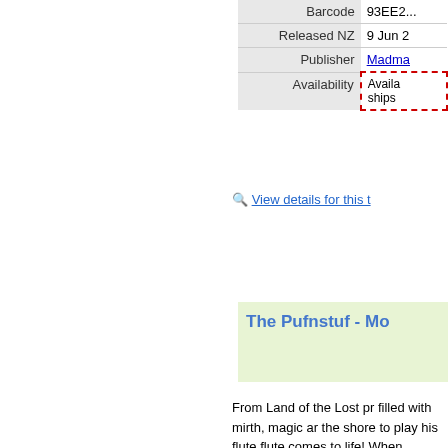| Field | Value |
| --- | --- |
| Released NZ | 9 Jun 2... |
| Publisher | Madma... |
| Availability | Availa... ships... |
View details for this t...
[Figure (other): G rating icon with green circle and horizontal lines, DVD logo icon, FS label in italic blue]
The Pufnstuf - Mo...
From Land of the Lost p... filled with mirth, magic ar... the shore to play his flute... flute comes to life! When...
Read more
| Field | Value |
| --- | --- |
| DVD Code | VVE28... |
| Barcode | 933736... |
| Released NZ | 10 Feb... |
| Publisher | Madma... |
| Availability | ... |